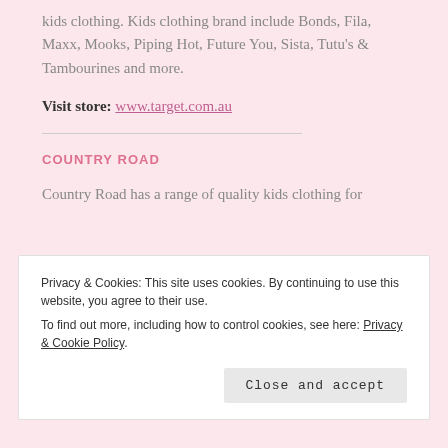kids clothing. Kids clothing brand include Bonds, Fila, Maxx, Mooks, Piping Hot, Future You, Sista, Tutu's & Tambourines and more.
Visit store: www.target.com.au
COUNTRY ROAD
Country Road has a range of quality kids clothing for
Privacy & Cookies: This site uses cookies. By continuing to use this website, you agree to their use.
To find out more, including how to control cookies, see here: Privacy & Cookie Policy
Close and accept